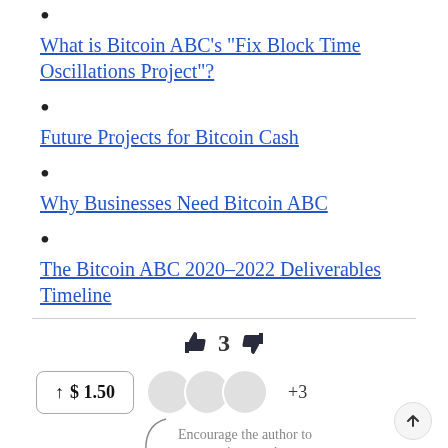What is Bitcoin ABC's "Fix Block Time Oscillations Project"?
Future Projects for Bitcoin Cash
Why Businesses Need Bitcoin ABC
The Bitcoin ABC 2020-2022 Deliverables Timeline
👍 3 👎
↑ $1.50  +3
Encourage the author to write more!